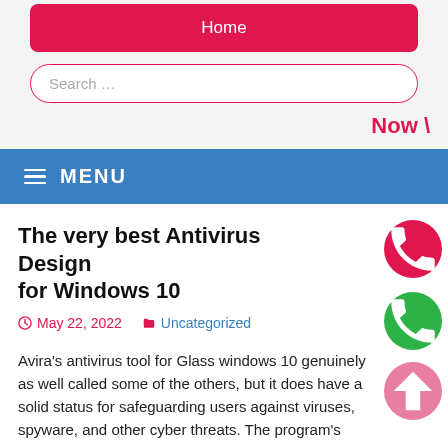Home
Search …
Now \
≡ MENU
The very best Antivirus Design for Windows 10
May 22, 2022   Uncategorized
Avira's antivirus tool for Glass windows 10 genuinely as well called some of the others, but it does have a solid status for safeguarding users against viruses, spyware, and other cyber threats. The program's primo